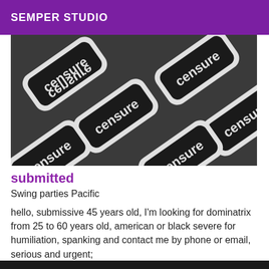SEMPER STUDIO
[Figure (photo): Repeated censure sign stencil tiles in black and white on dark background]
submitted
Swing parties Pacific
hello, submissive 45 years old, I'm looking for dominatrix from 25 to 60 years old, american or black severe for humiliation, spanking and contact me by phone or email, serious and urgent;